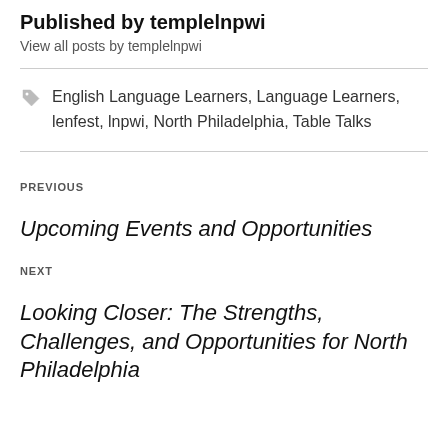Published by templelnpwi
View all posts by templelnpwi
English Language Learners, Language Learners, lenfest, lnpwi, North Philadelphia, Table Talks
PREVIOUS
Upcoming Events and Opportunities
NEXT
Looking Closer: The Strengths, Challenges, and Opportunities for North Philadelphia